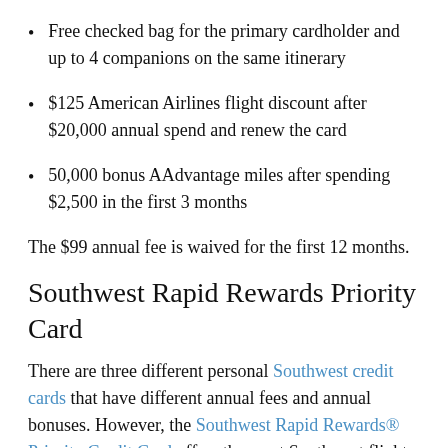Free checked bag for the primary cardholder and up to 4 companions on the same itinerary
$125 American Airlines flight discount after $20,000 annual spend and renew the card
50,000 bonus AAdvantage miles after spending $2,500 in the first 3 months
The $99 annual fee is waived for the first 12 months.
Southwest Rapid Rewards Priority Card
There are three different personal Southwest credit cards that have different annual fees and annual bonuses. However, the Southwest Rapid Rewards® Priority Credit Card offers the most Southwest flight